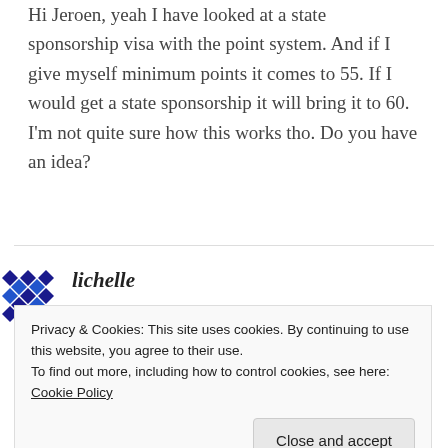Hi Jeroen, yeah I have looked at a state sponsorship visa with the point system. And if I give myself minimum points it comes to 55. If I would get a state sponsorship it will bring it to 60. I'm not quite sure how this works tho. Do you have an idea?
REPLY
[Figure (illustration): Blue and white decorative diamond/geometric pattern avatar icon]
lichelle
Privacy & Cookies: This site uses cookies. By continuing to use this website, you agree to their use.
To find out more, including how to control cookies, see here: Cookie Policy
Close and accept